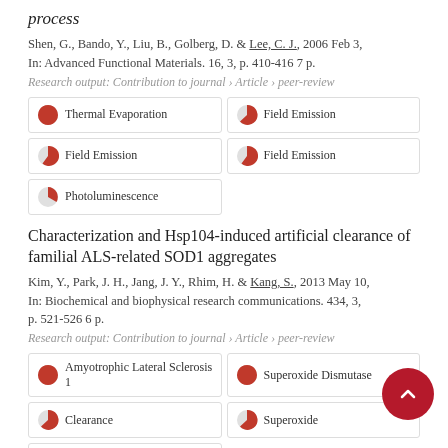process
Shen, G., Bando, Y., Liu, B., Golberg, D. & Lee, C. J., 2006 Feb 3, In: Advanced Functional Materials. 16, 3, p. 410-416 7 p.
Research output: Contribution to journal › Article › peer-review
Thermal Evaporation
Field Emission
Field Emission
Field Emission
Photoluminescence
Characterization and Hsp104-induced artificial clearance of familial ALS-related SOD1 aggregates
Kim, Y., Park, J. H., Jang, J. Y., Rhim, H. & Kang, S., 2013 May 10, In: Biochemical and biophysical research communications. 434, 3, p. 521-526 6 p.
Research output: Contribution to journal › Article › peer-review
Amyotrophic Lateral Sclerosis 1
Superoxide Dismutase
Clearance
Superoxide